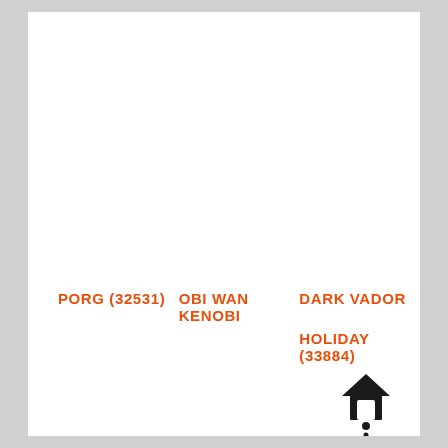PORG (32531)   OBI WAN KENOBI   DARK VADOR HOLIDAY (33884)
[Figure (logo): House/home icon with dot below forming a bird house or location pin shape, in black]